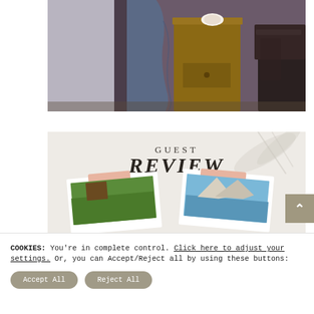[Figure (photo): Interior bedroom photo showing a wooden nightstand with a small decorative plate on top, a dark denim or fabric item draped over it, a dark leather armchair or sofa on the right, and a dark brown/mauve wall in the background.]
[Figure (photo): Guest Review promotional graphic with 'GUEST REVIEW' text in serif font over a light textured background with botanical shadow motifs. Two polaroid-style photos below: one showing a lush green landscape/garden, one showing coastal cliffs with blue sky. Peach/salmon colored label tabs visible on each photo.]
COOKIES: You're in complete control. Click here to adjust your settings. Or, you can Accept/Reject all by using these buttons:
Accept All
Reject All